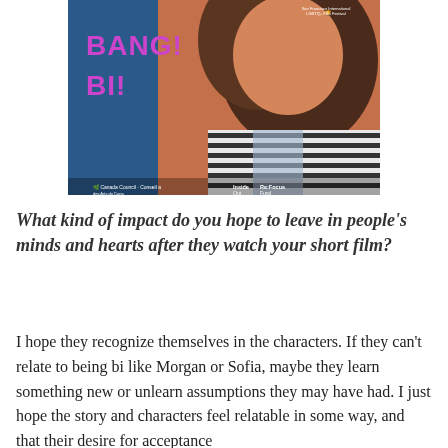[Figure (photo): Movie poster for a short film showing a young woman with long brown hair wearing a striped shirt, against a blue background. Text on poster reads 'BANG! BI!' in large purple/pink letters. Logos at bottom include Canada Council for the Arts, Inside Out, and Re:Focus Fund. Award laurels visible in top right corner.]
What kind of impact do you hope to leave in people's minds and hearts after they watch your short film?
I hope they recognize themselves in the characters. If they can't relate to being bi like Morgan or Sofia, maybe they learn something new or unlearn assumptions they may have had. I just hope the story and characters feel relatable in some way, and that their desire for acceptance